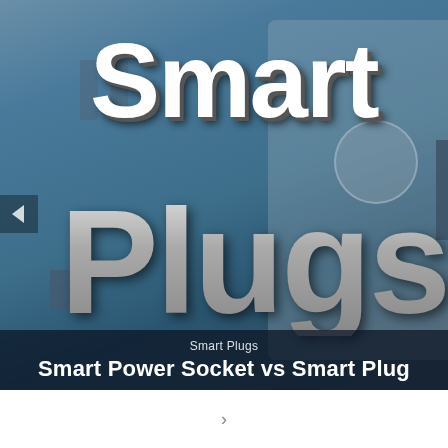[Figure (photo): Promotional thumbnail image with large bold text 'Smart Plugs' over a blurred blue-gray background showing electrical outlet/power strip hardware. Bottom overlay bar shows 'Smart Plugs' category label and 'Smart Power Socket vs Smart Plug' title in white text on dark background.]
Smart Power Socket vs Smart Plug